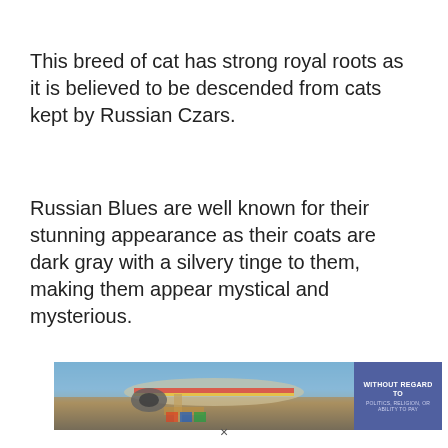This breed of cat has strong royal roots as it is believed to be descended from cats kept by Russian Czars.
Russian Blues are well known for their stunning appearance as their coats are dark gray with a silvery tinge to them, making them appear mystical and mysterious.
[Figure (photo): Advertisement banner showing an airplane being loaded with cargo on a tarmac, with a dark blue overlay box on the right reading 'WITHOUT REGARD TO POLITICS, RELIGION, OR ABILITY TO PAY']
×